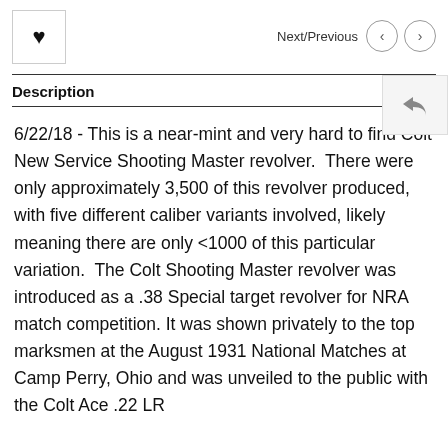Next/Previous
Description
6/22/18 - This is a near-mint and very hard to find Colt New Service Shooting Master revolver.  There were only approximately 3,500 of this revolver produced, with five different caliber variants involved, likely meaning there are only <1000 of this particular variation.  The Colt Shooting Master revolver was introduced as a .38 Special target revolver for NRA match competition. It was shown privately to the top marksmen at the August 1931 National Matches at Camp Perry, Ohio and was unveiled to the public with the Colt Ace .22 LR